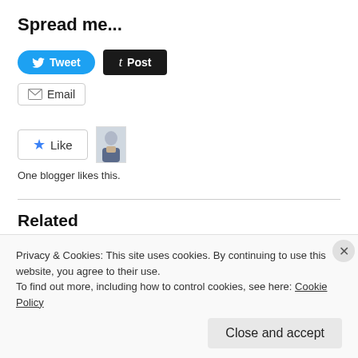Spread me...
[Figure (screenshot): Tweet button (blue, rounded), Post button (dark, square)]
[Figure (screenshot): Email button with envelope icon]
[Figure (screenshot): Like button with blue star icon and blogger avatar thumbnail]
One blogger likes this.
Related
THE GRATES + WHYTE FANG
December 11, 2011
Privacy & Cookies: This site uses cookies. By continuing to use this website, you agree to their use.
To find out more, including how to control cookies, see here: Cookie Policy
Close and accept